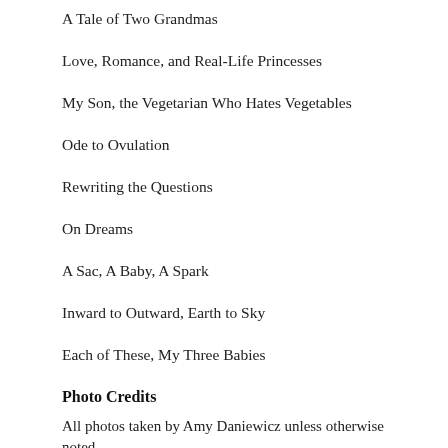A Tale of Two Grandmas
Love, Romance, and Real-Life Princesses
My Son, the Vegetarian Who Hates Vegetables
Ode to Ovulation
Rewriting the Questions
On Dreams
A Sac, A Baby, A Spark
Inward to Outward, Earth to Sky
Each of These, My Three Babies
Photo Credits
All photos taken by Amy Daniewicz unless otherwise noted.